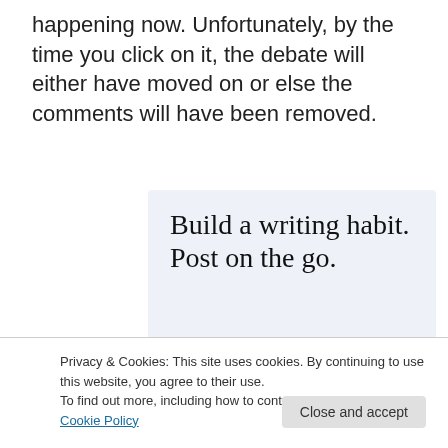happening now. Unfortunately, by the time you click on it, the debate will either have moved on or else the comments will have been removed.
[Figure (illustration): Advertisement banner with light blue background. Large serif text reads 'Build a writing habit. Post on the go.' Below is a 'GET THE APP' link in blue uppercase text and a WordPress circular logo icon on the right.]
Privacy & Cookies: This site uses cookies. By continuing to use this website, you agree to their use.
To find out more, including how to control cookies, see here: Cookie Policy
national news site and find a breaking news item which